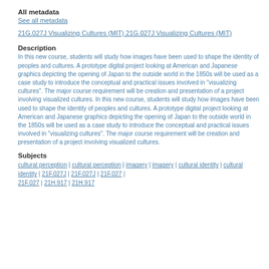All metadata
See all metadata
21G.027J Visualizing Cultures (MIT) 21G.027J Visualizing Cultures (MIT)
Description
In this new course, students will study how images have been used to shape the identity of peoples and cultures. A prototype digital project looking at American and Japanese graphics depicting the opening of Japan to the outside world in the 1850s will be used as a case study to introduce the conceptual and practical issues involved in "visualizing cultures". The major course requirement will be creation and presentation of a project involving visualized cultures. In this new course, students will study how images have been used to shape the identity of peoples and cultures. A prototype digital project looking at American and Japanese graphics depicting the opening of Japan to the outside world in the 1850s will be used as a case study to introduce the conceptual and practical issues involved in "visualizing cultures". The major course requirement will be creation and presentation of a project involving visualized cultures.
Subjects
cultural perception | cultural perception | imagery | imagery | cultural identity | cultural identity | 21F.027J | 21F.027J | 21F.027 | 21F.027 | 21H.917 | 21H.917